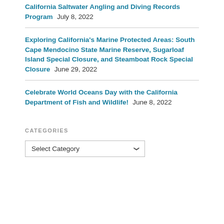California Saltwater Angling and Diving Records Program July 8, 2022
Exploring California's Marine Protected Areas: South Cape Mendocino State Marine Reserve, Sugarloaf Island Special Closure, and Steamboat Rock Special Closure June 29, 2022
Celebrate World Oceans Day with the California Department of Fish and Wildlife! June 8, 2022
CATEGORIES